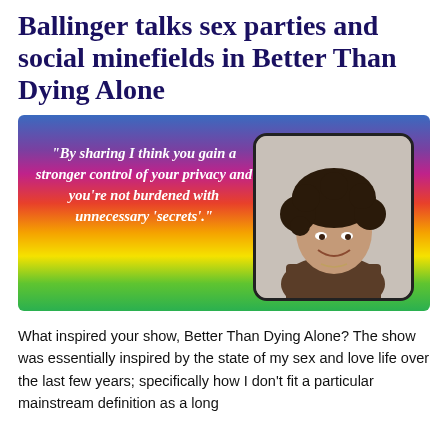Ballinger talks sex parties and social minefields in Better Than Dying Alone
[Figure (photo): Rainbow gradient background image with a quote in white italic text on the left: "By sharing I think you gain a stronger control of your privacy and you're not burdened with unnecessary 'secrets'." and a photo of a curly-haired woman smiling on the right.]
What inspired your show, Better Than Dying Alone? The show was essentially inspired by the state of my sex and love life over the last few years; specifically how I don't fit a particular mainstream definition as a long